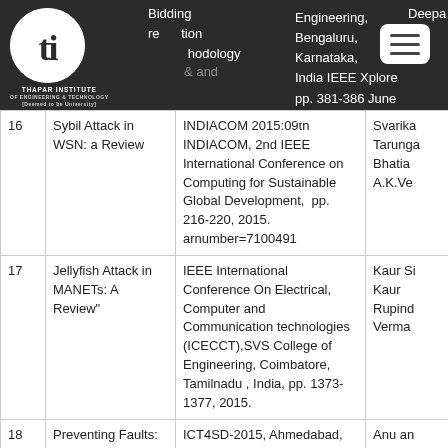[Figure (logo): Thapar Institute of Engineering & Technology logo - white 'ti' on dark circular background with institute name below]
| # | Title | Publication | Authors |
| --- | --- | --- | --- |
| 16 | Sybil Attack in WSN: a Review | INDIACOM 2015:09th INDIACOM, 2nd IEEE International Conference on Computing for Sustainable Global Development, pp. 216-220, 2015. arnumber=7100491 | Svarika Tarunga Bhatia A.K.Ve |
| 17 | Jellyfish Attack in MANETs: A Review" | IEEE International Conference On Electrical, Computer and Communication technologies (ICECCT),SVS College of Engineering, Coimbatore, Tamilnadu , India, pp. 1373-1377, 2015. | Kaur Si Kaur Rupind Verma |
| 18 | Preventing Faults: Fault Monitoring and Proactive Fault Tolerance in Cloud | ICT4SD-2015, Ahmedabad, India (July 2015), Springer AISC series. | Anu an Bala |